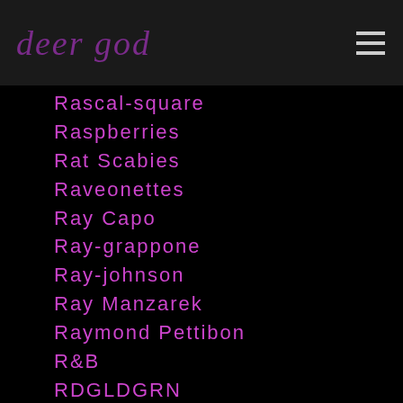dear god
Rascal-square
Raspberries
Rat Scabies
Raveonettes
Ray Capo
Ray-grappone
Ray-johnson
Ray Manzarek
Raymond Pettibon
R&B
RDGLDGRN
Reagan-youth
Real-estate
Reality-tv
Rebel-without-a-cause
Record Review
Red Fang